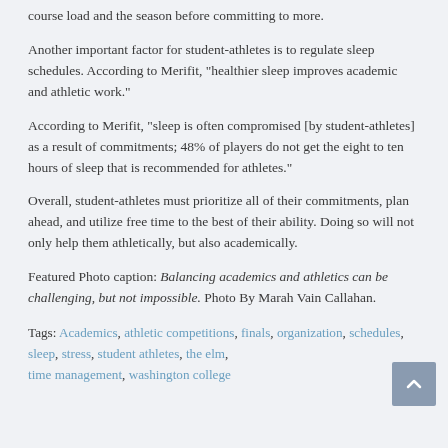course load and the season before committing to more.
Another important factor for student-athletes is to regulate sleep schedules. According to Merifit, “healthier sleep improves academic and athletic work.”
According to Merifit, “sleep is often compromised [by student-athletes] as a result of commitments; 48% of players do not get the eight to ten hours of sleep that is recommended for athletes.”
Overall, student-athletes must prioritize all of their commitments, plan ahead, and utilize free time to the best of their ability. Doing so will not only help them athletically, but also academically.
Featured Photo caption: Balancing academics and athletics can be challenging, but not impossible. Photo By Marah Vain Callahan.
Tags: Academics, athletic competitions, finals, organization, schedules, sleep, stress, student athletes, the elm, time management, washington college